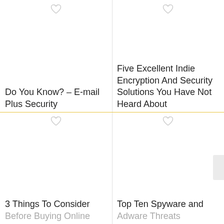Do You Know? – E-mail Plus Security
Five Excellent Indie Encryption And Security Solutions You Have Not Heard About
3 Things To Consider Before Buying Online
Top Ten Spyware and Adware Threats